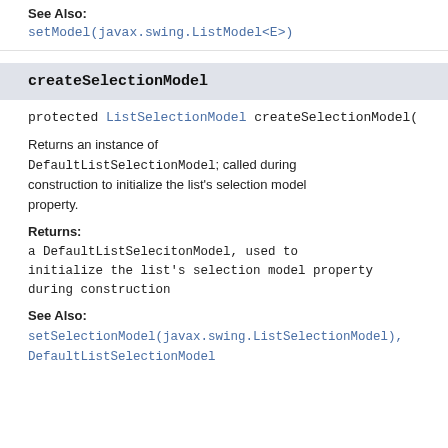See Also:
setModel(javax.swing.ListModel<E>)
createSelectionModel
protected ListSelectionModel createSelectionModel()
Returns an instance of DefaultListSelectionModel; called during construction to initialize the list's selection model property.
Returns:
a DefaultListSelecitonModel, used to initialize the list's selection model property during construction
See Also:
setSelectionModel(javax.swing.ListSelectionModel), DefaultListSelectionModel